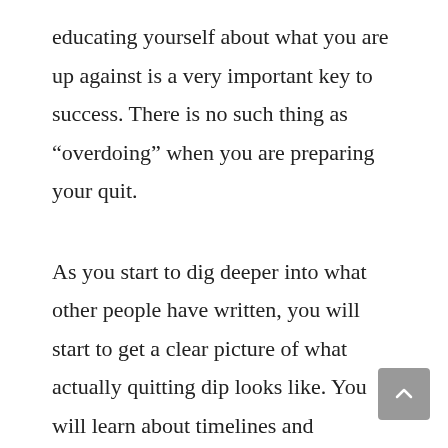educating yourself about what you are up against is a very important key to success. There is no such thing as “overdoing” when you are preparing your quit.
As you start to dig deeper into what other people have written, you will start to get a clear picture of what actually quitting dip looks like. You will learn about timelines and withdrawal symptoms that are common and uncommon. Also, you will read about things to avoid early on that will increase your chances of success – like cutting back or stopping alcohol for a while. Most importantly you will learn what freedom from